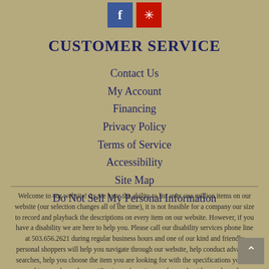[Figure (illustration): Social media icons: Facebook (blue) and Yelp (red with snowflake/asterisk)]
CUSTOMER SERVICE
Contact Us
My Account
Financing
Privacy Policy
Terms of Service
Accessibility
Site Map
Do Not Sell My Personal Information
Welcome to our website! As we have the ability to list over one million items on our website (our selection changes all of the time), it is not feasible for a company our size to record and playback the descriptions on every item on our website. However, if you have a disability we are here to help you. Please call our disability services phone line at 503.656.2621 during regular business hours and one of our kind and friendly personal shoppers will help you navigate through our website, help conduct advanced searches, help you choose the item you are looking for with the specifications you are seeking, read you the specifications of any item and consult with you about the products they carry. There is no charge for the help of this kind